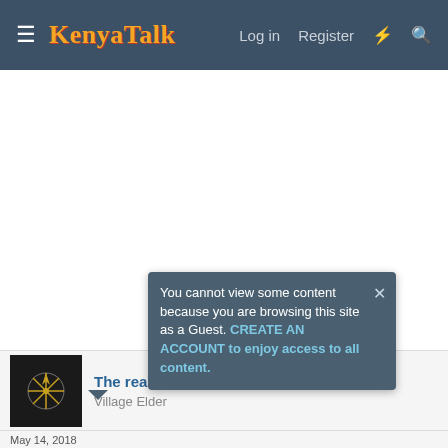KenyaTalk — Log in  Register
The real [voice] — Village Elder
You cannot view some content because you are browsing this site as a Guest. CREATE AN ACCOUNT to enjoy access to all content.
May 14, 2018